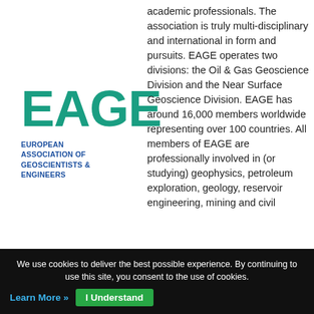[Figure (logo): EAGE logo — 'EAGE' in large teal/green bold letters, below which 'EUROPEAN ASSOCIATION OF GEOSCIENTISTS & ENGINEERS' in bold blue smaller text]
academic professionals. The association is truly multi-disciplinary and international in form and pursuits. EAGE operates two divisions: the Oil & Gas Geoscience Division and the Near Surface Geoscience Division. EAGE has around 16,000 members worldwide representing over 100 countries. All members of EAGE are professionally involved in (or studying) geophysics, petroleum exploration, geology, reservoir engineering, mining and civil
We use cookies to deliver the best possible experience. By continuing to use this site, you consent to the use of cookies. Learn More » I Understand